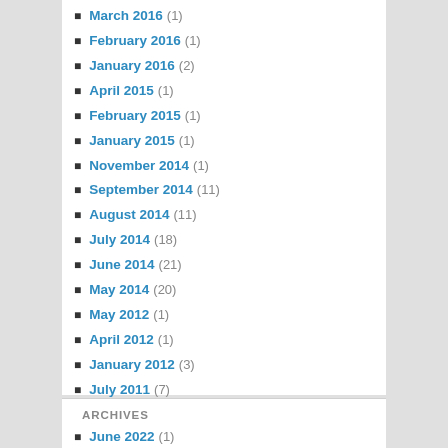March 2016 (1)
February 2016 (1)
January 2016 (2)
April 2015 (1)
February 2015 (1)
January 2015 (1)
November 2014 (1)
September 2014 (11)
August 2014 (11)
July 2014 (18)
June 2014 (21)
May 2014 (20)
May 2012 (1)
April 2012 (1)
January 2012 (3)
July 2011 (7)
June 2011 (17)
ARCHIVES
June 2022 (1)